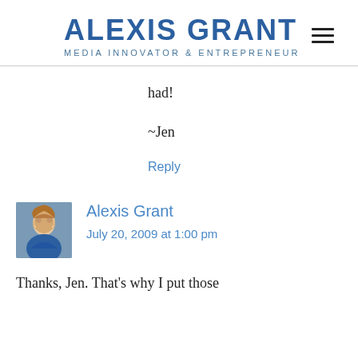ALEXIS GRANT
MEDIA INNOVATOR & ENTREPRENEUR
had!
~Jen
Reply
Alexis Grant
July 20, 2009 at 1:00 pm
Thanks, Jen. That's why I put those